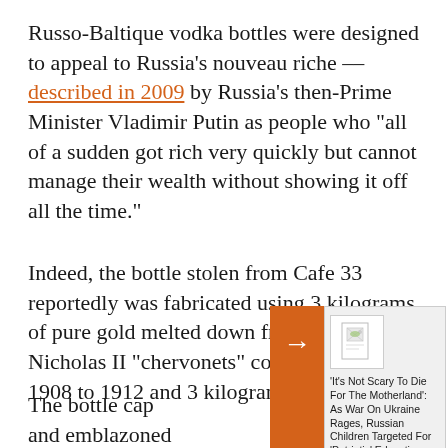Russo-Baltique vodka bottles were designed to appeal to Russia's nouveau riche -- described in 2009 by Russia's then-Prime Minister Vladimir Putin as people who "all of a sudden got rich very quickly but cannot manage their wealth without showing it off all the time."
Indeed, the bottle stolen from Cafe 33 reportedly was fabricated using 3 kilograms of pure gold melted down from Tsar Nicholas II "chervonets" coins minted from 1908 to 1912 and 3 kilograms of pure silver.
The bottle cap... and emblazoned... Russian imper...
[Figure (screenshot): A popup overlay widget with an orange arrow on the left and a related article teaser on the right showing a broken image icon and the headline: 'It's Not Scary To Die For The Motherland': As War On Ukraine Rages, Russian Children Targeted For 'Patriotic' Education]